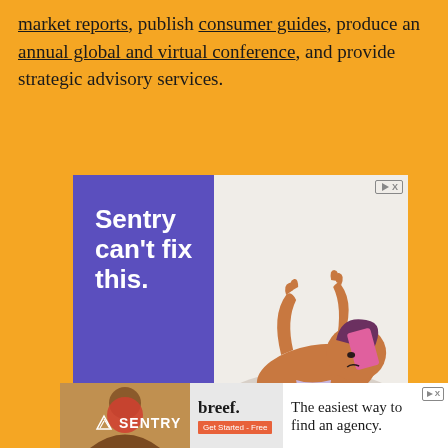market reports, publish consumer guides, produce an annual global and virtual conference, and provide strategic advisory services.
[Figure (screenshot): Sentry advertisement: purple and white banner ad reading 'Sentry can't fix this.' with Sentry logo, showing an illustration of a person lying in bed frustrated with a phone, with ad badge (play/X icons) in top right corner and a Close X button.]
[Figure (screenshot): Breef advertisement bar: left side shows 'breef.' logo with 'Get Started - Free' button on grey background with person photo, right side shows 'The easiest way to find an agency.' text.]